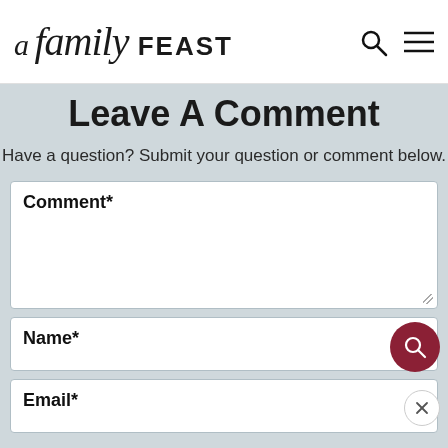A Family Feast
Leave A Comment
Have a question? Submit your question or comment below.
Comment*
Name*
Email*
Notify me of followup comments via e-mail. You can also subscribe without commenting.